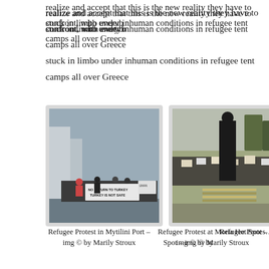realize and accept that this is the new reality they have to confront, with everyb… stuck in limbo under inhuman conditions in refugee tent camps all over Greece…
[Figure (photo): Protesters holding signs reading 'NO RETURN TO TURKEY, TURKEY IS NOT SAFE' and 'HUMAN' at Mytilini Port]
[Figure (photo): Large crowd of refugees sitting and holding signs at Moria Hot Spot]
[Figure (photo): Refugees holding signs at a Hot Spot, partially cropped]
Refugee Protest in Mytilini Port – img © by Marily Stroux
Refugee Protest at Moria Hot Spot – img © by Marily Stroux
Refugee Protest… Spot – img © by…
From Monday, 4th of April, on the return agreement with Turkey will be impleme… than 500 people being readmitted from the Hot Spots on the islands of the Aeg… have been turned into detention and deportation centres in practice. Only the o… for asylum or family reunification and unaccompanied minors will not be deport… Turkey. Asylum applications since a few days have reached unprecedented n…